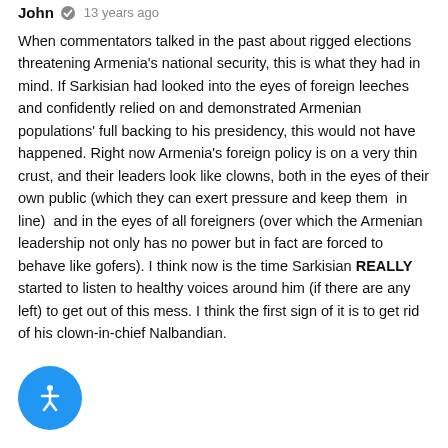John · 13 years ago
When commentators talked in the past about rigged elections threatening Armenia's national security, this is what they had in mind. If Sarkisian had looked into the eyes of foreign leeches and confidently relied on and demonstrated Armenian populations' full backing to his presidency, this would not have happened. Right now Armenia's foreign policy is on a very thin crust, and their leaders look like clowns, both in the eyes of their own public (which they can exert pressure and keep them in line) and in the eyes of all foreigners (over which the Armenian leadership not only has no power but in fact are forced to behave like gofers). I think now is the time Sarkisian REALLY started to listen to healthy voices around him (if there are any left) to get out of this mess. I think the first sign of it is to get rid of his clown-in-chief Nalbandian.